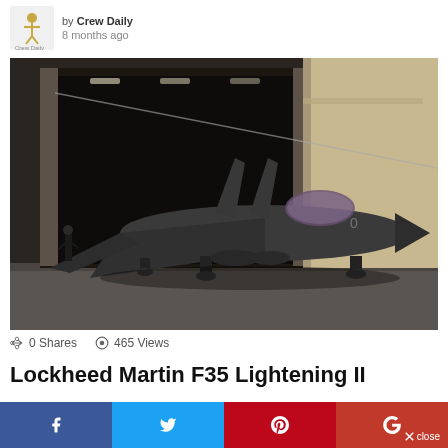by Crew Daily
8 months ago
[Figure (photo): F-35 Lightning II stealth fighter jet being towed out of a hangar by a ground crew member, photographed from the front-left angle on a tarmac.]
0 Shares  465 Views
Lockheed Martin F35 Lightening II
by Crew Daily
8 months ago
f  (twitter)  (pinterest)  g+  close